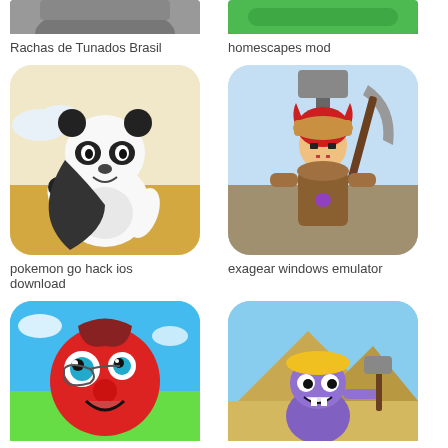[Figure (screenshot): Top-cropped game app thumbnail (Rachas de Tunados Brasil) showing a character/car scene]
[Figure (screenshot): Top-cropped game app thumbnail (homescapes mod) showing green button/banner]
Rachas de Tunados Brasil
homescapes mod
[Figure (screenshot): App icon showing a cartoon panda on a beach background (pokemon go hack ios download)]
[Figure (screenshot): App icon showing a pixel-art warrior character with axe (exagear windows emulator)]
pokemon go hack ios download
exagear windows emulator
[Figure (screenshot): App icon showing a red cartoon ball character on blue/green background (partial, bottom row)]
[Figure (screenshot): App icon showing a purple monster builder with yellow hard hat near pyramids (partial, bottom row)]